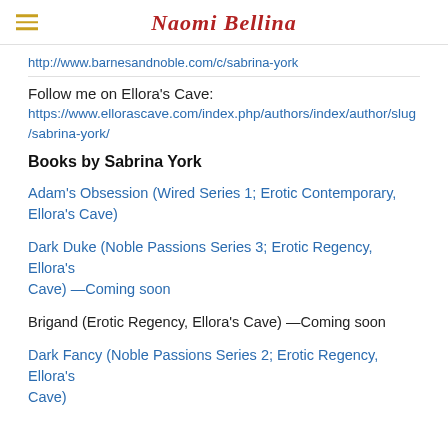Naomi Bellina
http://www.barnesandnoble.com/c/sabrina-york
Follow me on Ellora's Cave:
https://www.ellorascave.com/index.php/authors/index/author/slug/sabrina-york/
Books by Sabrina York
Adam's Obsession (Wired Series 1; Erotic Contemporary, Ellora's Cave)
Dark Duke (Noble Passions Series 3; Erotic Regency, Ellora's Cave) —Coming soon
Brigand (Erotic Regency, Ellora's Cave) —Coming soon
Dark Fancy (Noble Passions Series 2; Erotic Regency, Ellora's Cave)